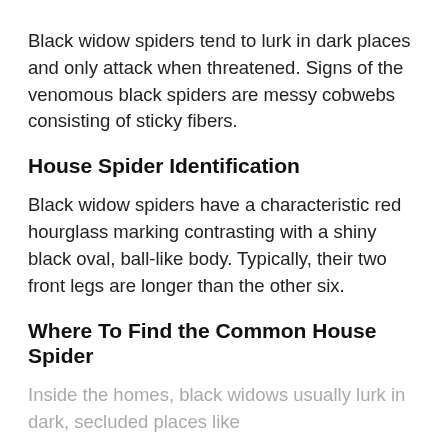Black widow spiders tend to lurk in dark places and only attack when threatened. Signs of the venomous black spiders are messy cobwebs consisting of sticky fibers.
House Spider Identification
Black widow spiders have a characteristic red hourglass marking contrasting with a shiny black oval, ball-like body. Typically, their two front legs are longer than the other six.
Where To Find the Common House Spider
Inside the homes, black widows usually lurk in dark, secluded places like...